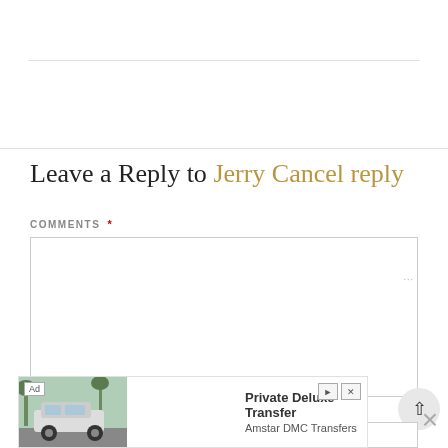Leave a Reply to Jerry Cancel reply
COMMENTS *
NAME *
[Figure (screenshot): Ad banner for Private Deluxe Transfer by Amstar DMC Transfers, showing a luxury SUV with tropical background, Ad badge, forward/close controls, and an X close button.]